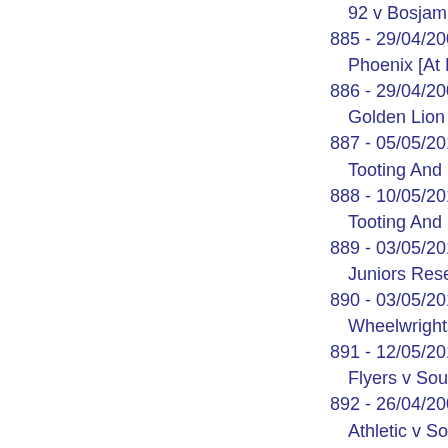92 v Bosjam [At
885 - 29/04/2004 C
Phoenix [At Bans
886 - 29/04/2009 C
Golden Lion [At C
887 - 05/05/2013 C
Tooting And Mitc
888 - 10/05/2015 C
Tooting And Mitc
889 - 03/05/2015 C
Juniors Reserves
890 - 03/05/2015 C
Wheelwrights [At
891 - 12/05/2013 C
Flyers v Souls [A
892 - 26/04/2009 C
Athletic v Southw
893 - 16/04/2000 C
Wallington Cars [
894 - 13/05/1967 C
895 - 17/09/1990 C
896 - 09/03/1992 C
Pages) £2
897 - 04/04/199